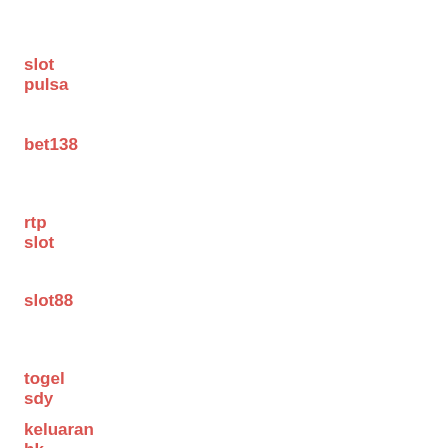slot pulsa
bet138
rtp slot
slot88
togel sdy
keluaran hk